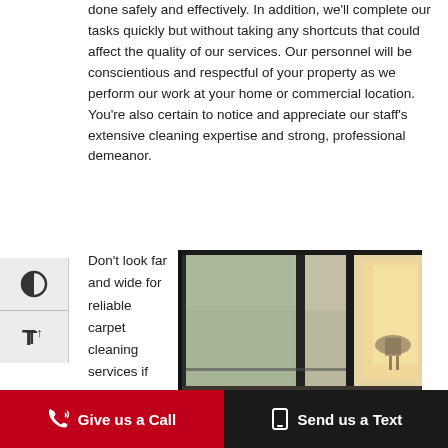done safely and effectively. In addition, we'll complete our tasks quickly but without taking any shortcuts that could affect the quality of our services. Our personnel will be conscientious and respectful of your property as we perform our work at your home or commercial location. You're also certain to notice and appreciate our staff's extensive cleaning expertise and strong, professional demeanor.
Don't look far and wide for reliable carpet cleaning services if you're in Maineville, Loveland,
[Figure (photo): Interior of a modern office or commercial building with glass walls, dark metal frames, and carpet flooring. Natural light visible through glass doors.]
Give us a Call  |  Send us a Text